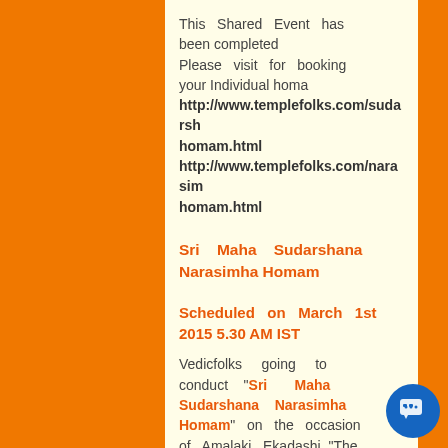This Shared Event has been completed
Please visit for booking your Individual homa
http://www.templefolks.com/sudarshahomam.html
http://www.templefolks.com/narasimhahomam.html
Sri Maha Sudarshana Narasimha Homam
Scheduled on March 1st 2015 5.30 AM IST
Vedicfolks going to conduct "Sri Maha Sudarshana Narasimha Homam" on the occasion of Amalaki Ekadashi "The